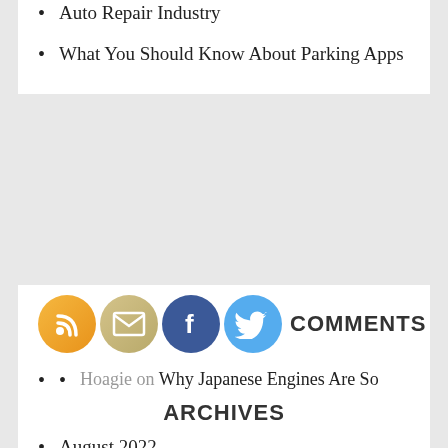Auto Repair Industry
What You Should Know About Parking Apps
COMMENTS
Hoagie on Why Japanese Engines Are So Popular in America
MuscleCarFan on Why Japanese Engines Are So Popular in America
ARCHIVES
August 2022